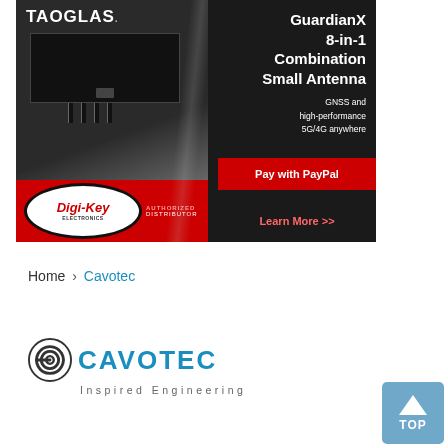[Figure (advertisement): Taoglas GuardianX 8-in-1 Combination Small Antenna advertisement banner with Digi-Key Electronics authorized distributor logo, Pay with PayPal, and Learn More >> call to action]
Home > Cavotec
[Figure (logo): Cavotec logo with spiral icon, CAVOTEC in blue bold text, and tagline 'Inspired Engineering' below]
[Figure (other): TOP navigation button with upward arrow icon and TOP label]